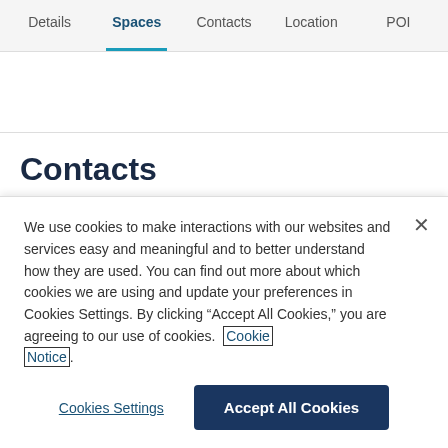Details  Spaces  Contacts  Location  POI
Contacts
We use cookies to make interactions with our websites and services easy and meaningful and to better understand how they are used. You can find out more about which cookies we are using and update your preferences in Cookies Settings. By clicking “Accept All Cookies,” you are agreeing to our use of cookies. Cookie Notice.
Cookies Settings  Accept All Cookies